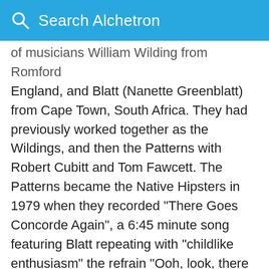Search Alchetron
of musicians William Wilding from Romford England, and Blatt (Nanette Greenblatt) from Cape Town, South Africa. They had previously worked together as the Wildings, and then the Patterns with Robert Cubitt and Tom Fawcett. The Patterns became the Native Hipsters in 1979 when they recorded "There Goes Concorde Again", a 6:45 minute song featuring Blatt repeating with "childlike enthusiasm" the refrain "Ooh, look, there goes Concorde again", with reference to sightings of the famed "silverbird". AllMusic described the song as a "formless composition" with "perfectly-devoid-of-skill vocals, a wobbly funhouse synth, the occasional guitar pling, and not much ba…